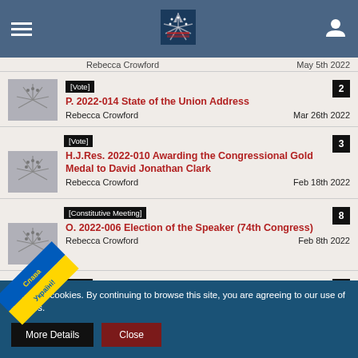Navigation bar with hamburger menu, logo, and user icon
Rebecca Crowford | May 5th 2022
P. 2022-014 State of the Union Address | Rebecca Crowford | Mar 26th 2022 | badge: 2
[Vote] H.J.Res. 2022-010 Awarding the Congressional Gold Medal to David Jonathan Clark | Rebecca Crowford | Feb 18th 2022 | badge: 3
[Constitutive Meeting] O. 2022-006 Election of the Speaker (74th Congress) | Rebecca Crowford | Feb 8th 2022 | badge: 8
[Vote] S. 2022-003 Freedom of Activity Act | Rebecca Crowford | Jan 30th 2022 | badge: 2
site uses cookies. By continuing to browse this site, you are agreeing to our use of cookies.
More Details | Close